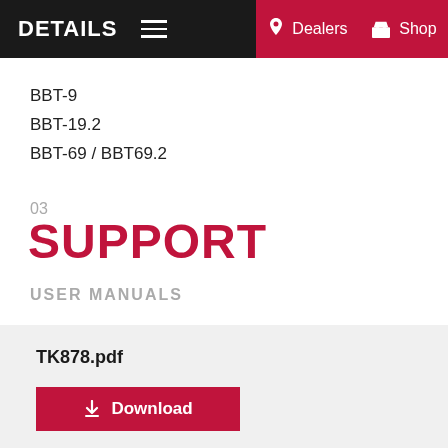DETAILS  Dealers  Shop
BBT-9
BBT-19.2
BBT-69 / BBT69.2
03
SUPPORT
USER MANUALS
TK878.pdf
Download